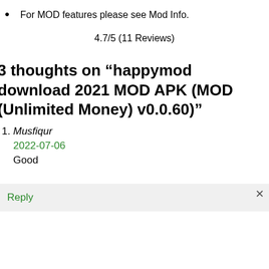For MOD features please see Mod Info.
4.7/5 (11 Reviews)
3 thoughts on “happymod download 2021 MOD APK (MOD (Unlimited Money) v0.0.60)”
Musfiqur
2022-07-06
Good
Reply